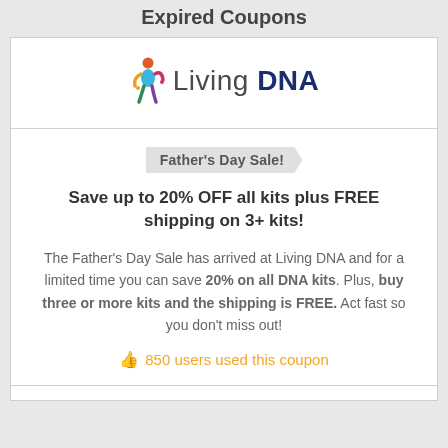Expired Coupons
[Figure (logo): Living DNA logo with colorful figure and text]
Father's Day Sale!
Save up to 20% OFF all kits plus FREE shipping on 3+ kits!
The Father's Day Sale has arrived at Living DNA and for a limited time you can save 20% on all DNA kits. Plus, buy three or more kits and the shipping is FREE. Act fast so you don't miss out!
850 users used this coupon